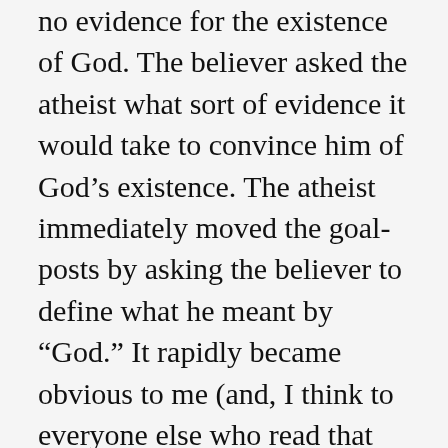no evidence for the existence of God. The believer asked the atheist what sort of evidence it would take to convince him of God's existence. The atheist immediately moved the goalposts by asking the believer to define what he meant by “God.” It rapidly became obvious to me (and, I think to everyone else who read that exchange) that no amount of evidence of any kind would be sufficient to convince the atheist that he was wrong. He had already made up his mind that God could not exist, ergo, by definition, any evidence to the contrary is misleading or misinterpreted. Therefore, no matter